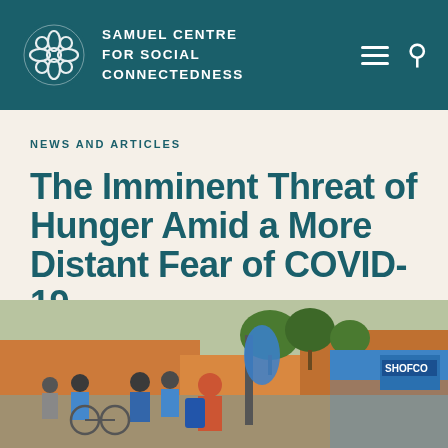SAMUEL CENTRE FOR SOCIAL CONNECTEDNESS
NEWS AND ARTICLES
The Imminent Threat of Hunger Amid a More Distant Fear of COVID-19
[Figure (photo): Street scene showing people gathered outdoors in what appears to be an African urban setting. A blue SHOFCO tent/canopy is visible on the right side. People are standing and moving around, some wearing blue shirts. Buildings in orange/brown colors are visible in the background along with trees.]